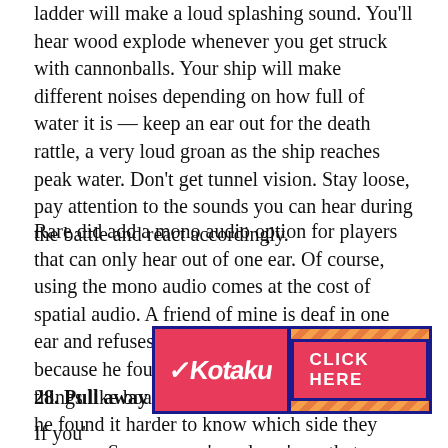ladder will make a loud splashing sound. You'll hear wood explode whenever you get struck with cannonballs. Your ship will make different noises depending on how full of water it is — keep an ear out for the death rattle, a very loud groan as the ship reaches peak water. Don't get tunnel vision. Stay loose, pay attention to the sounds you can hear during the battle and react accordingly.
Rare did add a mono audio option for players that can only hear out of one ear. Of course, using the mono audio comes at the cost of spatial audio. A friend of mine is deaf in one ear and refuses to use the mono audio mode because he found that, while he could hear things like boarders grabbing the ship's ladder, he found it harder to know which side they were on. So some pro's and con's on that one. Try it out and see how you feel about it.
28. Pull away if you're taking huge damage
[Figure (other): Kotaku advertisement banner with logo on left and 'CLICK HERE' button on right with diagonal striped pattern background]
If you'...